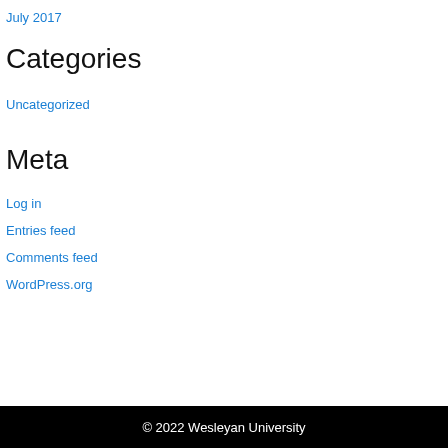July 2017
Categories
Uncategorized
Meta
Log in
Entries feed
Comments feed
WordPress.org
© 2022 Wesleyan University